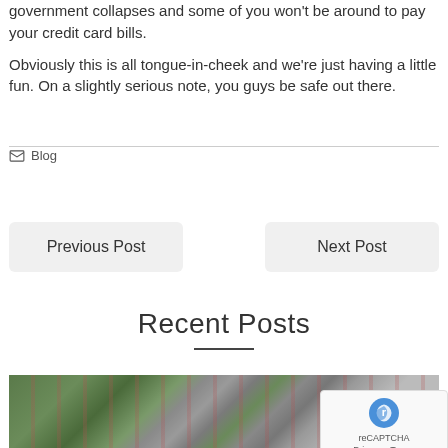government collapses and some of you won't be around to pay your credit card bills.

Obviously this is all tongue-in-cheek and we're just having a little fun.  On a slightly serious note, you guys be safe out there.
Blog
Previous Post
Next Post
Recent Posts
[Figure (photo): Aerial photograph of a self-storage facility with multiple long buildings arranged in rows, surrounded by trees]